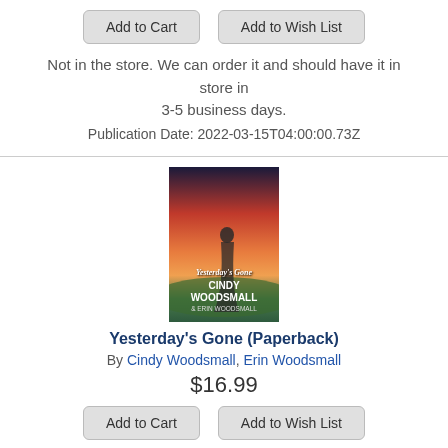Add to Cart   Add to Wish List
Not in the store. We can order it and should have it in store in 3-5 business days.
Publication Date: 2022-03-15T04:00:00.73Z
[Figure (illustration): Book cover of Yesterday's Gone by Cindy Woodsmall & Erin Woodsmall showing a woman in period dress against a dramatic sunset sky]
Yesterday's Gone (Paperback)
By Cindy Woodsmall, Erin Woodsmall
$16.99
Add to Cart   Add to Wish List
Not in the store. We can order it and should have it in store in